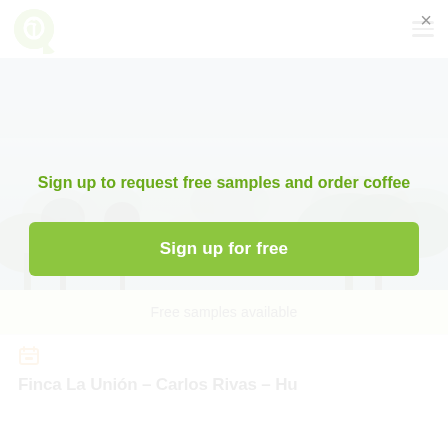[Figure (photo): Misty tropical forest landscape with trees silhouetted against a grey-blue sky]
Free samples available
[Figure (illustration): Orange calendar icon]
Finca La Unión – Carlos Rivas – Hu
Sign up to request free samples and order coffee
Sign up for free